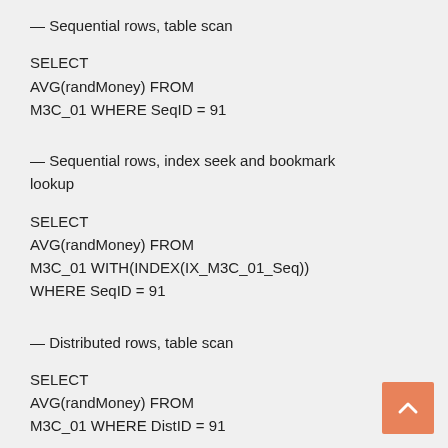— Sequential rows, table scan
SELECT
AVG(randMoney) FROM
M3C_01 WHERE SeqID = 91
— Sequential rows, index seek and bookmark lookup
SELECT
AVG(randMoney) FROM
M3C_01 WITH(INDEX(IX_M3C_01_Seq))
WHERE SeqID = 91
— Distributed rows, table scan
SELECT
AVG(randMoney) FROM
M3C_01 WHERE DistID = 91